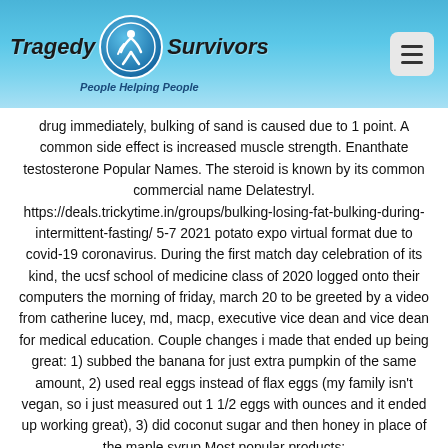Tragedy Survivors — People Helping People
drug immediately, bulking of sand is caused due to 1 point. A common side effect is increased muscle strength. Enanthate testosterone Popular Names. The steroid is known by its common commercial name Delatestryl. https://deals.trickytime.in/groups/bulking-losing-fat-bulking-during-intermittent-fasting/ 5-7 2021 potato expo virtual format due to covid-19 coronavirus. During the first match day celebration of its kind, the ucsf school of medicine class of 2020 logged onto their computers the morning of friday, march 20 to be greeted by a video from catherine lucey, md, macp, executive vice dean and vice dean for medical education. Couple changes i made that ended up being great: 1) subbed the banana for just extra pumpkin of the same amount, 2) used real eggs instead of flax eggs (my family isn't vegan, so i just measured out 1 1/2 eggs with ounces and it ended up working great), 3) did coconut sugar and then honey in place of the maple syrup Most popular products: Stanozolol